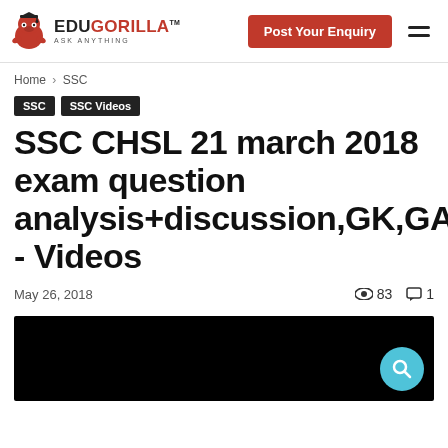EduGorilla — Post Your Enquiry
Home › SSC
SSC
SSC Videos
SSC CHSL 21 march 2018 exam question analysis+discussion,GK,GA - Videos
May 26, 2018   👁 83   💬 1
[Figure (screenshot): Black video thumbnail area with a teal search FAB button in the bottom right corner]